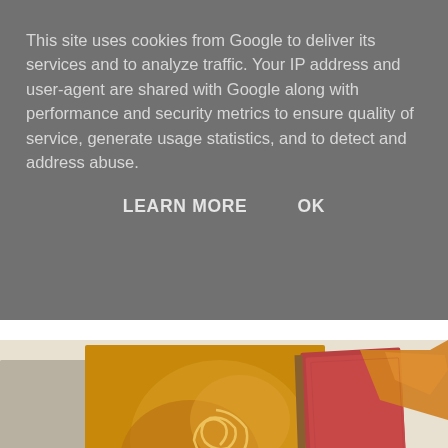This site uses cookies from Google to deliver its services and to analyze traffic. Your IP address and user-agent are shared with Google along with performance and security metrics to ensure quality of service, generate usage statistics, and to detect and address abuse.
LEARN MORE    OK
[Figure (photo): Photograph of several fabric pieces laid out on a white surface, including rust-dyed tan/gold fabrics with organic spiral patterns, and more colourful painted fabrics in red, purple and gold tones on the right side.]
two more colourful fabrics towards the right are Julie's experim sketchbook covered with copper fabric that she had made hers that there is a small piece of the painted fabric she used in cop her to show you (soon!). I really love the rust dyed fabrics. I've
Next up is my little pumpkin guy called "sweetness"